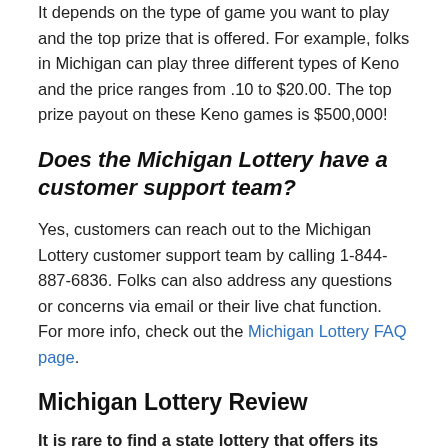It depends on the type of game you want to play and the top prize that is offered. For example, folks in Michigan can play three different types of Keno and the price ranges from .10 to $20.00. The top prize payout on these Keno games is $500,000!
Does the Michigan Lottery have a customer support team?
Yes, customers can reach out to the Michigan Lottery customer support team by calling 1-844-887-6836. Folks can also address any questions or concerns via email or their live chat function. For more info, check out the Michigan Lottery FAQ page.
Michigan Lottery Review
It is rare to find a state lottery that offers its